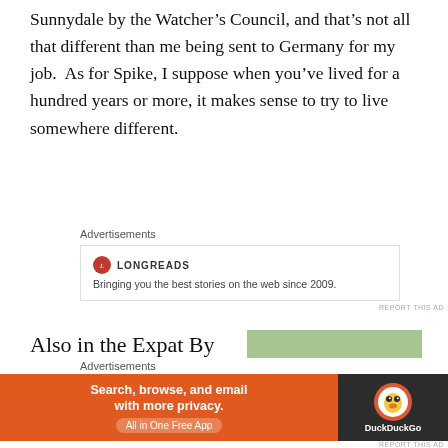Sunnydale by the Watcher’s Council, and that’s not all that different than me being sent to Germany for my job.  As for Spike, I suppose when you’ve lived for a hundred years or more, it makes sense to try to live somewhere different.
Advertisements
[Figure (other): Longreads advertisement box with logo and text: Bringing you the best stories on the web since 2009.]
REPORT THIS AD
Also in the Expat By Choice category is
Uncle Traveling Matt
[Figure (photo): Image of a sheep or Muppet-like character wearing a straw hat, peeking over rocks outdoors.]
Advertisements
[Figure (other): DuckDuckGo advertisement banner: Search, browse, and email with more privacy. All in One Free App. DuckDuckGo logo on dark background.]
REPORT THIS AD